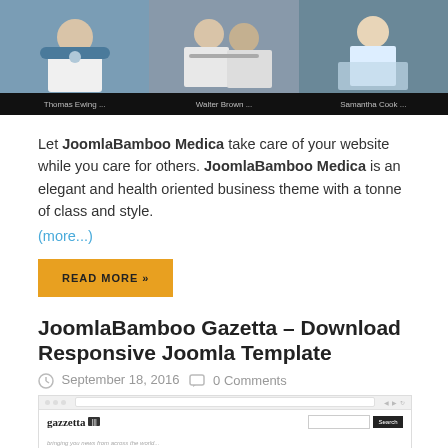[Figure (photo): Group photo of medical professionals (Thomas Ewing, Walter Brown, Samantha Cook) in white coats with stethoscopes, shown in a website banner image with their names labeled below.]
Let JoomlaBamboo Medica take care of your website while you care for others. JoomlaBamboo Medica is an elegant and health oriented business theme with a tonne of class and style. (more...)
READ MORE »
JoomlaBamboo Gazetta – Download Responsive Joomla Template
September 18, 2016   0 Comments
[Figure (screenshot): Screenshot of the JoomlaBamboo Gazzetta Joomla template showing the website homepage with the Gazzetta logo, navigation bar with date box, and a breaking news section with a red banner.]